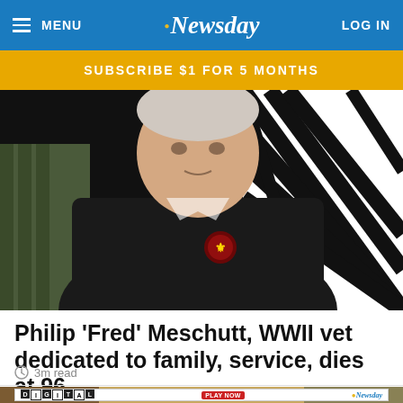MENU  Newsday  LOG IN
SUBSCRIBE $1 FOR 5 MONTHS
[Figure (photo): Elderly man in a black jacket with an emblem, seated against a black and white patterned background]
Philip 'Fred' Meschutt, WWII vet dedicated to family, service, dies at 96
3m read
[Figure (infographic): Digital Crossword advertisement banner with Play Now button and Newsday logo]